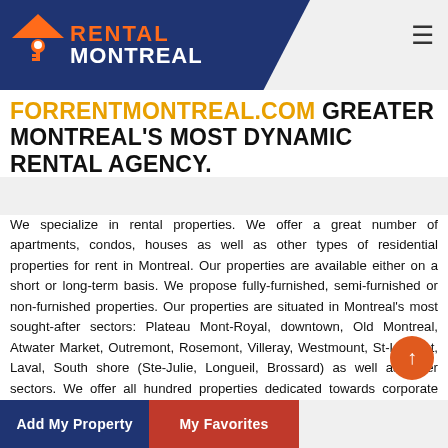[Figure (logo): Rental Montreal logo with house/key icon on dark blue parallelogram background, orange RENTAL text and white MONTREAL text]
FORRENTMONTREAL.COM GREATER MONTREAL'S MOST DYNAMIC RENTAL AGENCY.
We specialize in rental properties. We offer a great number of apartments, condos, houses as well as other types of residential properties for rent in Montreal. Our properties are available either on a short or long-term basis. We propose fully-furnished, semi-furnished or non-furnished properties. Our properties are situated in Montreal's most sought-after sectors: Plateau Mont-Royal, downtown, Old Montreal, Atwater Market, Outremont, Rosemont, Villeray, Westmount, St-Laurent, Laval, South shore (Ste-Julie, Longueil, Brossard) as well as other sectors. We offer all hundred properties dedicated towards corporate rentals or professionals seeking a temporary « pied-à-terre » or permanent apartments, condos or term rental. Our vast
Add My Property | My Favorites